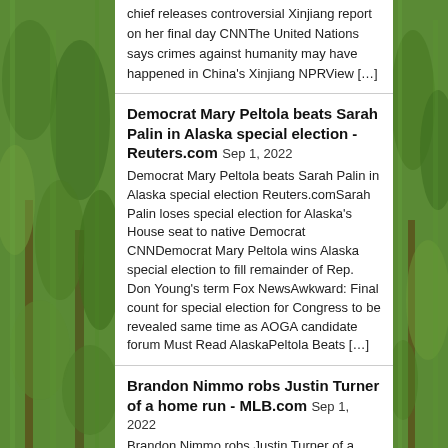[Figure (photo): Green trees/foliage photo on left side of page]
[Figure (photo): Green trees/foliage photo on right side of page]
chief releases controversial Xinjiang report on her final day  CNNThe United Nations says crimes against humanity may have happened in China's Xinjiang  NPRView […]
Democrat Mary Peltola beats Sarah Palin in Alaska special election - Reuters.com
Sep 1, 2022 Democrat Mary Peltola beats Sarah Palin in Alaska special election  Reuters.comSarah Palin loses special election for Alaska's House seat to native Democrat  CNNDemocrat Mary Peltola wins Alaska special election to fill remainder of Rep. Don Young's term  Fox NewsAwkward: Final count for special election for Congress to be revealed same time as AOGA candidate forum  Must Read AlaskaPeltola Beats […]
Brandon Nimmo robs Justin Turner of a home run - MLB.com
Sep 1, 2022 Brandon Nimmo robs Justin Turner of a home run  MLB.comMets outfielder hauls in possible catch of the year in thrilling win over Dodgers  Fox NewsDodgers vs. Mets - Game Recap - August 31, 2022  ESPNDodgers struggle against ace Jacob deGrom in loss to Mets  Los Angeles TimesDodgers vs. Mets Game Highlights (8/31/22) | MLB Highlights  MLBView Full Coverage on